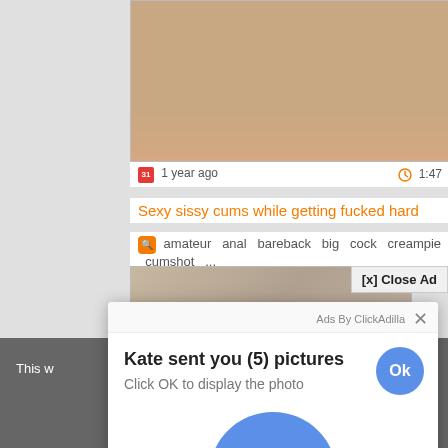[Figure (screenshot): Background website showing a video thumbnail (skin-colored image), metadata row with calendar icon '1 year ago' and clock icon '1:47', orange title text, tag icons with category tags, and a second partial thumbnail below]
[x] Close Ad
Ads By ClickAdilla  ×
Kate sent you (5) pictures
Click OK to display the photo
[Figure (illustration): Large blue circular OK button]
This w... ng our w... r
a1h